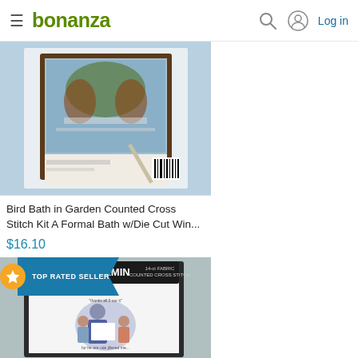bonanza  Log in
[Figure (photo): Bird Bath in Garden Counted Cross Stitch Kit product photo - cross stitch kit in blue packaging showing back of package with barcode]
Bird Bath in Garden Counted Cross Stitch Kit A Formal Bath w/Die Cut Win...
$16.10
[Figure (photo): Charmin counted cross stitch kit in plastic packaging showing a family reading scene with text 'thanks all 2 our it' and 'for he are ude jiltered me']
TOP RATED SELLER